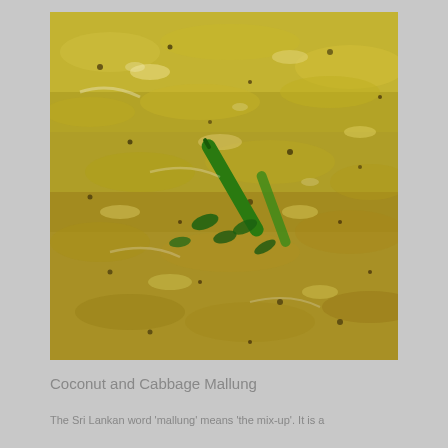[Figure (photo): Close-up photo of Coconut and Cabbage Mallung dish — shredded cabbage stir-fried with grated coconut and spices, with green chili peppers and curry leaves visible on top, yellow-green in color.]
Coconut and Cabbage Mallung
The Sri Lankan word 'mallung' means 'the mix-up'. It is a